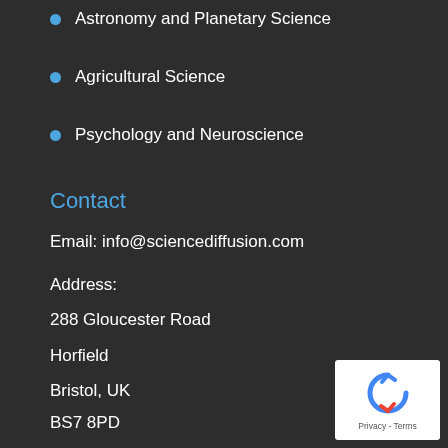Astronomy and Planetary Science
Agricultural Science
Psychology and Neuroscience
Contact
Email: info@sciencediffusion.com
Address:
288 Gloucester Road
Horfield
Bristol, UK
BS7 8PD
[Figure (logo): reCAPTCHA widget with circular arrow icon and Privacy - Terms text]